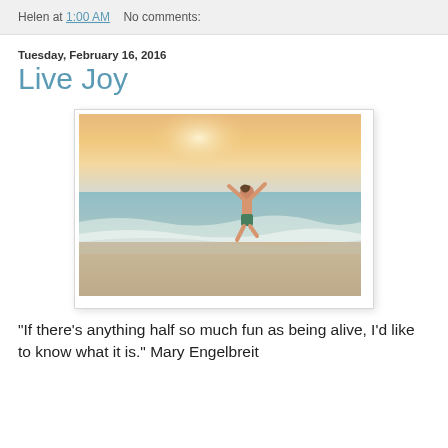Helen at 1:00 AM   No comments:
Tuesday, February 16, 2016
Live Joy
[Figure (photo): A child jumping joyfully on a beach at sunset, arms raised, wearing green shorts, with ocean waves and a warm golden-pink sky in the background.]
"If there's anything half so much fun as being alive, I'd like to know what it is." Mary Engelbreit